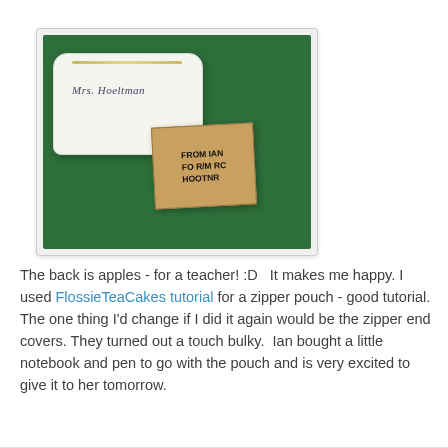[Figure (photo): A white zipper pouch with 'Mrs. Hoeltman' embroidered on it, lying on a green fabric background next to a small handwritten cardboard note reading 'FROM IAN FOR MRS HOOTMR']
The back is apples - for a teacher! :D   It makes me happy. I used FlossieTeaCakes tutorial for a zipper pouch - good tutorial. The one thing I'd change if I did it again would be the zipper end covers. They turned out a touch bulky.  Ian bought a little notebook and pen to go with the pouch and is very excited to give it to her tomorrow.